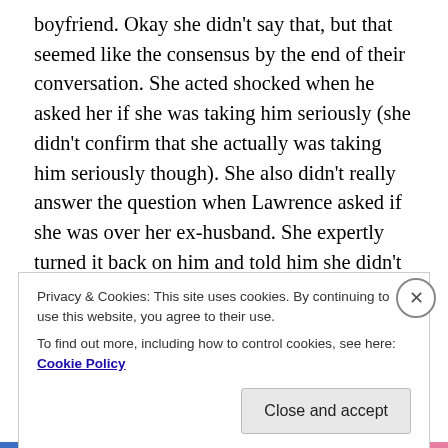boyfriend. Okay she didn't say that, but that seemed like the consensus by the end of their conversation. She acted shocked when he asked her if she was taking him seriously (she didn't confirm that she actually was taking him seriously though). She also didn't really answer the question when Lawrence asked if she was over her ex-husband. She expertly turned it back on him and told him she didn't like that he and Issa were so cool with each other and had the same friends. She then asks if Lawrence would still be with her if she hadn't cheated on him, which to me is a pointless question. Of course he would be. But she DID cheat, so what's the point in imagining if she didn't?
Privacy & Cookies: This site uses cookies. By continuing to use this website, you agree to their use.
To find out more, including how to control cookies, see here: Cookie Policy
Close and accept